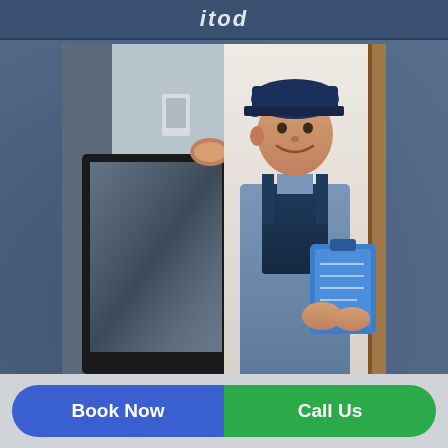itod
[Figure (photo): Composite image showing left half: a large flat-screen TV being carried/installed, right half: a smiling male technician in blue overalls and cap holding a blue clipboard, standing in front of a door]
Experience
Book Now
Call Us